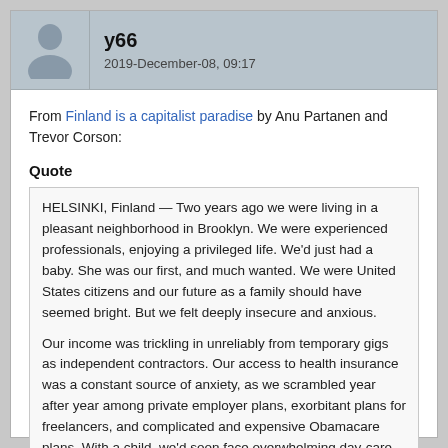y66
2019-December-08, 09:17
From Finland is a capitalist paradise by Anu Partanen and Trevor Corson:
Quote
HELSINKI, Finland — Two years ago we were living in a pleasant neighborhood in Brooklyn. We were experienced professionals, enjoying a privileged life. We'd just had a baby. She was our first, and much wanted. We were United States citizens and our future as a family should have seemed bright. But we felt deeply insecure and anxious.

Our income was trickling in unreliably from temporary gigs as independent contractors. Our access to health insurance was a constant source of anxiety, as we scrambled year after year among private employer plans, exorbitant plans for freelancers, and complicated and expensive Obamacare plans. With a child, we'd soon face overwhelming day-care costs. Never mind the bankruptcy-sized bills for education ahead, whether for housing in a good public-school district or for private-school tuition. And then there'd be college. In other words, we suffered